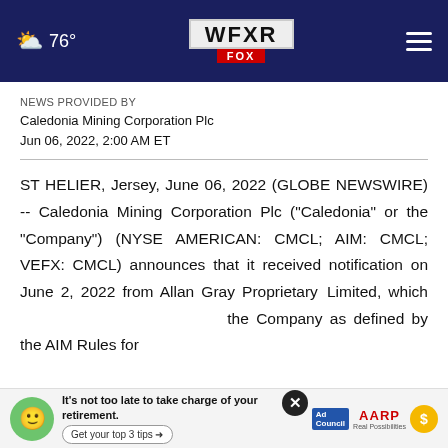WFXR FOX — 76°
NEWS PROVIDED BY
Caledonia Mining Corporation Plc
Jun 06, 2022, 2:00 AM ET
ST HELIER, Jersey, June 06, 2022 (GLOBE NEWSWIRE) -- Caledonia Mining Corporation Plc ("Caledonia" or the "Company") (NYSE AMERICAN: CMCL; AIM: CMCL; VEFX: CMCL) announces that it received notification on June 2, 2022 from Allan Gray Proprietary Limited, which the Company as defined by the AIM Rules for